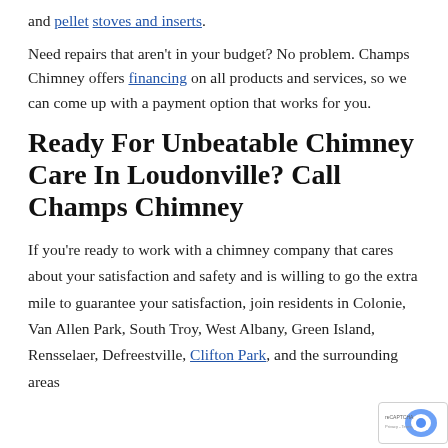and pellet stoves and inserts.
Need repairs that aren't in your budget? No problem. Champs Chimney offers financing on all products and services, so we can come up with a payment option that works for you.
Ready For Unbeatable Chimney Care In Loudonville? Call Champs Chimney
If you're ready to work with a chimney company that cares about your satisfaction and safety and is willing to go the extra mile to guarantee your satisfaction, join residents in Colonie, Van Allen Park, South Troy, West Albany, Green Island, Rensselaer, Defreestville, Clifton Park, and the surrounding areas